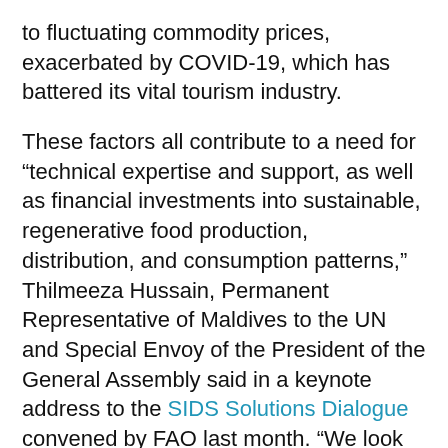to fluctuating commodity prices, exacerbated by COVID-19, which has battered its vital tourism industry.
These factors all contribute to a need for “technical expertise and support, as well as financial investments into sustainable, regenerative food production, distribution, and consumption patterns,” Thilmeeza Hussain, Permanent Representative of Maldives to the UN and Special Envoy of the President of the General Assembly said in a keynote address to the SIDS Solutions Dialogue convened by FAO last month. “We look forward to continuing to work with key partners, such as the FAO and others, to implement the necessary changes to ensure equitable and sustainable food systems,” she added.
The SIDS Solutions Dialogue convened the latest...